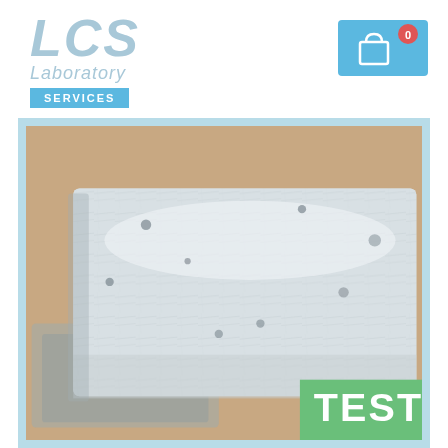[Figure (logo): LCS Laboratory Services logo with light blue/grey italic text and a blue SERVICES badge]
[Figure (other): Shopping cart icon on a blue background with a red badge showing 0]
[Figure (photo): Close-up photograph of a white fibrous insulation or mineral material block, possibly asbestos or mineral wool, on a brown background, with a green TEST badge in the lower right corner]